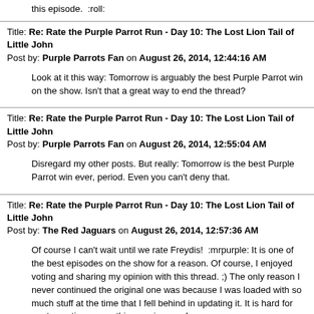this episode. :roll:
Title: Re: Rate the Purple Parrot Run - Day 10: The Lost Lion Tail of Little John
Post by: Purple Parrots Fan on August 26, 2014, 12:44:16 AM
Look at it this way: Tomorrow is arguably the best Purple Parrot win on the show. Isn't that a great way to end the thread?
Title: Re: Rate the Purple Parrot Run - Day 10: The Lost Lion Tail of Little John
Post by: Purple Parrots Fan on August 26, 2014, 12:55:04 AM
Disregard my other posts. But really: Tomorrow is the best Purple Parrot win ever, period. Even you can't deny that.
Title: Re: Rate the Purple Parrot Run - Day 10: The Lost Lion Tail of Little John
Post by: The Red Jaguars on August 26, 2014, 12:57:36 AM
Of course I can't wait until we rate Freydis! :mrpurple: It is one of the best episodes on the show for a reason. Of course, I enjoyed voting and sharing my opinion with this thread. ;) The only reason I never continued the original one was because I was loaded with so much stuff at the time that I fell behind in updating it. It is hard for me to continue something again once I